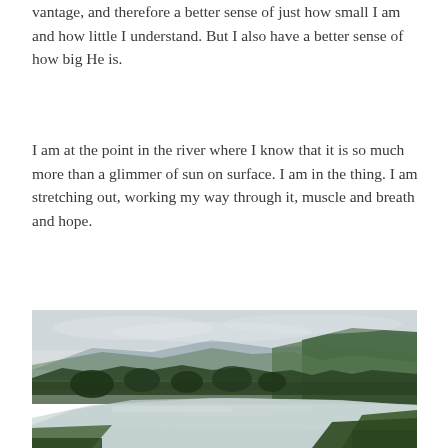vantage, and therefore a better sense of just how small I am and how little I understand. But I also have a better sense of how big He is.
I am at the point in the river where I know that it is so much more than a glimmer of sun on surface. I am in the thing. I am stretching out, working my way through it, muscle and breath and hope.
[Figure (photo): A river landscape photo showing a calm river winding through a valley with green hills in the background and grassy banks in the foreground, taken under an overcast sky.]